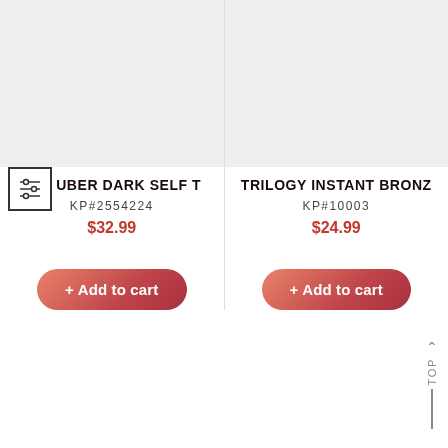[Figure (photo): Product image placeholder for TAN UBER DARK SELF T, light gray background]
TAN UBER DARK SELF T
KP#2554224
$32.99
+ Add to cart
[Figure (photo): Product image placeholder for TRILOGY INSTANT BRONZ, light gray background]
TRILOGY INSTANT BRONZ
KP#10003
$24.99
+ Add to cart